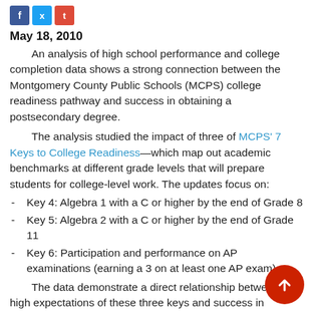[Figure (other): Social media share icons: Facebook (blue), Twitter (light blue), Google+ (red)]
May 18, 2010
An analysis of high school performance and college completion data shows a strong connection between the Montgomery County Public Schools (MCPS) college readiness pathway and success in obtaining a postsecondary degree.
The analysis studied the impact of three of MCPS' 7 Keys to College Readiness—which map out academic benchmarks at different grade levels that will prepare students for college-level work. The updates focus on:
Key 4: Algebra 1 with a C or higher by the end of Grade 8
Key 5: Algebra 2 with a C or higher by the end of Grade 11
Key 6: Participation and performance on AP examinations (earning a 3 on at least one AP exam).
The data demonstrate a direct relationship between the high expectations of these three keys and success in college. The impact was significant for all students in all areas, including African American and Hispanic students.
“The results of this analysis clearly show that high expectations, supported by outstanding instruction, make a huge difference in the lives of our students,” said